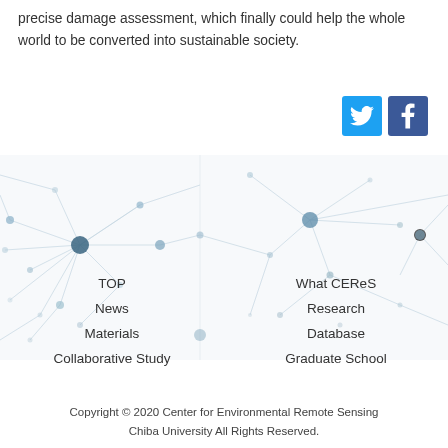precise damage assessment, which finally could help the whole world to be converted into sustainable society.
[Figure (illustration): Network graph background with nodes and connecting lines in light blue/gray tones spanning the footer area]
TOP
News
Materials
Collaborative Study
What CEReS
Research
Database
Graduate School
Copyright © 2020 Center for Environmental Remote Sensing Chiba University All Rights Reserved.